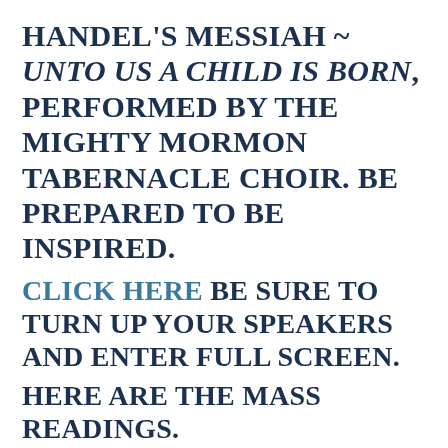HANDEL'S MESSIAH ~ UNTO US A CHILD IS BORN, PERFORMED BY THE MIGHTY MORMON TABERNACLE CHOIR. BE PREPARED TO BE INSPIRED.
CLICK HERE BE SURE TO TURN UP YOUR SPEAKERS AND ENTER FULL SCREEN.
HERE ARE THE MASS READINGS.
CLICK HERE